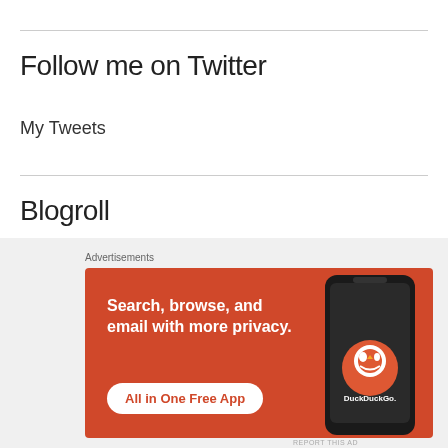Follow me on Twitter
My Tweets
Blogroll
budjetsetter
[Figure (screenshot): DuckDuckGo advertisement banner with orange background. Text reads 'Search, browse, and email with more privacy. All in One Free App' with a DuckDuckGo logo and a smartphone image. Labeled 'Advertisements' above the banner.]